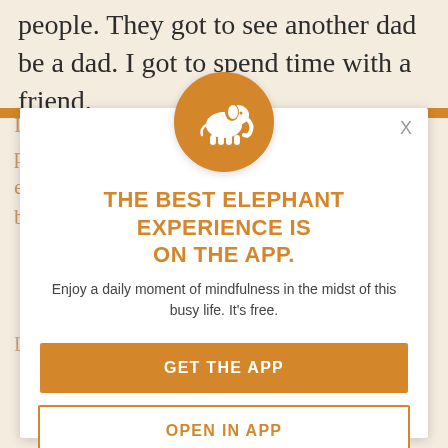people. They got to see another dad be a dad. I got to spend time with a friend.
I learned, too. I learned the importance of patience and the importance of sharing my experiences on a single day—both good and bad.
LARGE FLAVOR OF OBSERVATION
[Figure (logo): Orange circle with white elephant silhouette logo]
THE BEST ELEPHANT EXPERIENCE IS ON THE APP.
Enjoy a daily moment of mindfulness in the midst of this busy life. It's free.
GET THE APP
OPEN IN APP